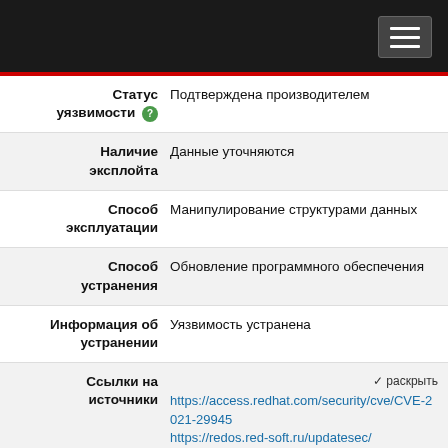| Field | Value |
| --- | --- |
| Статус уязвимости | Подтверждена производителем |
| Наличие эксплойта | Данные уточняются |
| Способ эксплуатации | Манипулирование структурами данных |
| Способ устранения | Обновление программного обеспечения |
| Информация об устранении | Уязвимость устранена |
| Ссылки на источники | https://access.redhat.com/security/cve/CVE-2021-29945
https://redos.red-soft.ru/updatesec/
https://security- |